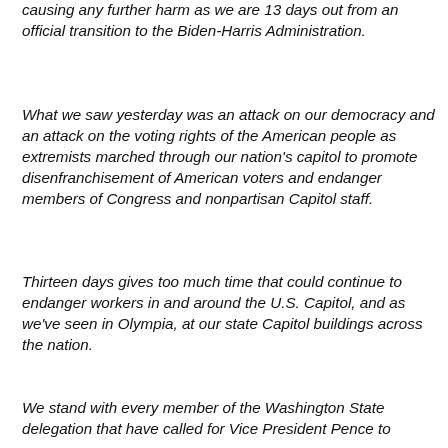causing any further harm as we are 13 days out from an official transition to the Biden-Harris Administration.
What we saw yesterday was an attack on our democracy and an attack on the voting rights of the American people as extremists marched through our nation's capitol to promote disenfranchisement of American voters and endanger members of Congress and nonpartisan Capitol staff.
Thirteen days gives too much time that could continue to endanger workers in and around the U.S. Capitol, and as we've seen in Olympia, at our state Capitol buildings across the nation.
We stand with every member of the Washington State delegation that have called for Vice President Pence to